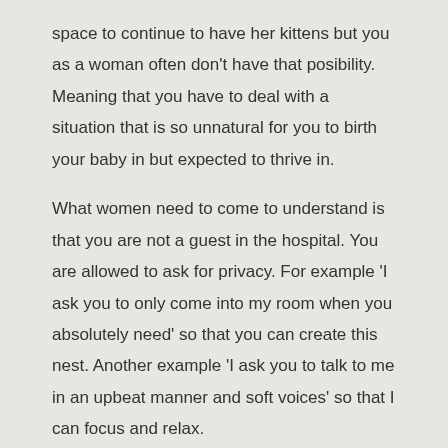space to continue to have her kittens but you as a woman often don't have that posibility. Meaning that you have to deal with a situation that is so unnatural for you to birth your baby in but expected to thrive in.
What women need to come to understand is that you are not a guest in the hospital. You are allowed to ask for privacy. For example 'I ask you to only come into my room when you absolutely need' so that you can create this nest. Another example 'I ask you to talk to me in an upbeat manner and soft voices' so that I can focus and relax.
If women would be approached with these simple ways of communication and respect, Failure to Progress would not be an issue.